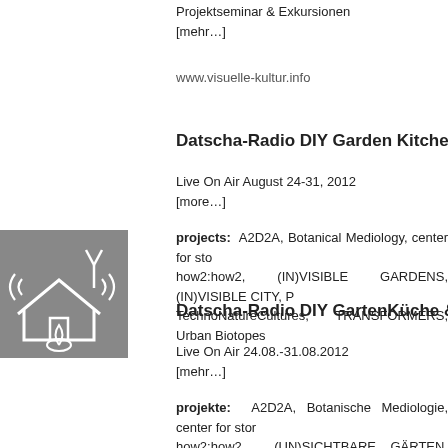Projektseminar & Exkursionen
[mehr…]
www.visuelle-kultur.info
Datscha-Radio DIY Garden Kitchen & G
Live On Air August 24-31, 2012
[more…]
projects: A2D2A, Botanical Mediology, center for sto… how2:how2, (IN)VISIBLE GARDENS, (IN)VISIBLE CITY, P… TechnoNatureCultures, TRANSFORMERS, Urban Biotopes…
[Figure (illustration): Gray square icon showing a house with radio waves/antenna and plant/garden imagery, white line art on gray background representing Datscha-Radio concept]
Datscha-Radio DIY GartenKüche & Gar
Live On Air 24.08.-31.08.2012
[mehr…]
projekte: A2D2A, Botanische Mediologie, center for stor… how2:how2, (UN)SICHTBARE GÄRTEN, (UN)SICHTB… Radio, RadioGarten, TechnoNaturKulturen, Transformer, U…